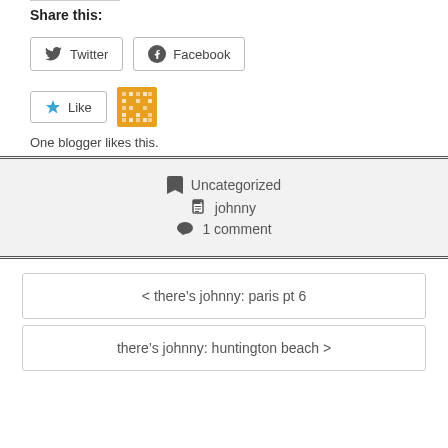Share this:
Twitter (button)
Facebook (button)
Like button
One blogger likes this.
Uncategorized
johnny
1 comment
< there’s johnny: paris pt 6
there’s johnny: huntington beach >